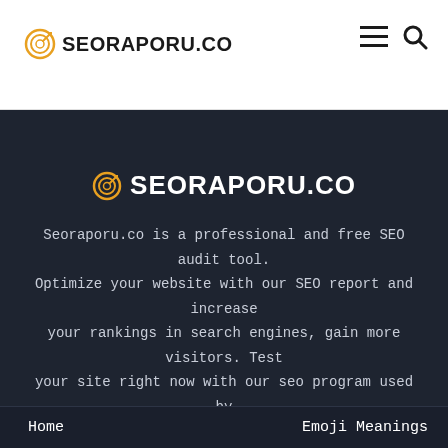SEORAPORU.CO
SEORAPORU.CO
Seoraporu.co is a professional and free SEO audit tool. Optimize your website with our SEO report and increase your rankings in search engines, gain more visitors. Test your site right now with our seo program used by thousands of sites!
Home   Emoji Meanings